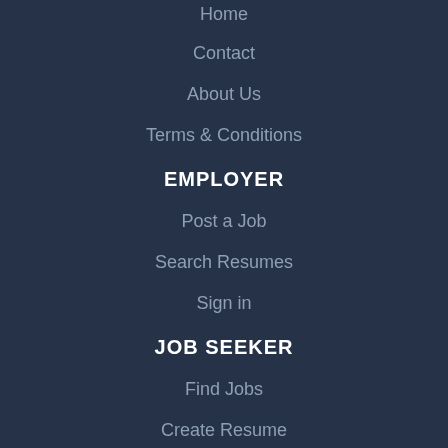Home
Contact
About Us
Terms & Conditions
EMPLOYER
Post a Job
Search Resumes
Sign in
JOB SEEKER
Find Jobs
Create Resume
Sign in